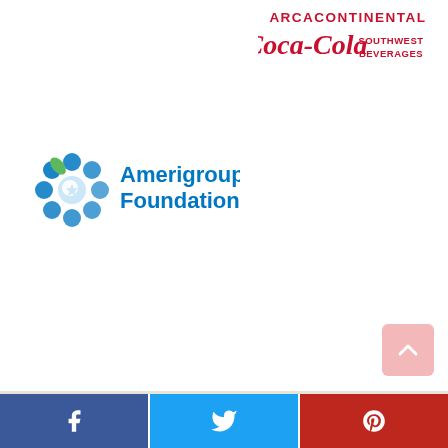[Figure (logo): ARCACONTINENTAL Coca-Cola Southwest Beverages logo in red]
[Figure (logo): Amerigroup Foundation logo with blue/green flower icon and blue text]
[Figure (infographic): Social media share bar at bottom with Facebook, Twitter, and Pinterest icons]